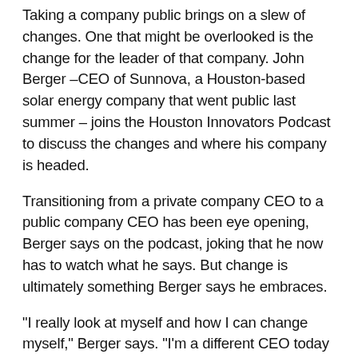Taking a company public brings on a slew of changes. One that might be overlooked is the change for the leader of that company. John Berger –CEO of Sunnova, a Houston-based solar energy company that went public last summer – joins the Houston Innovators Podcast to discuss the changes and where his company is headed.
Transitioning from a private company CEO to a public company CEO has been eye opening, Berger says on the podcast, joking that he now has to watch what he says. But change is ultimately something Berger says he embraces.
"I really look at myself and how I can change myself," Berger says. "I'm a different CEO today than I was 12 months ago, and hopefully I'll be a different CEO in 12 months, because the company demands it." Read more